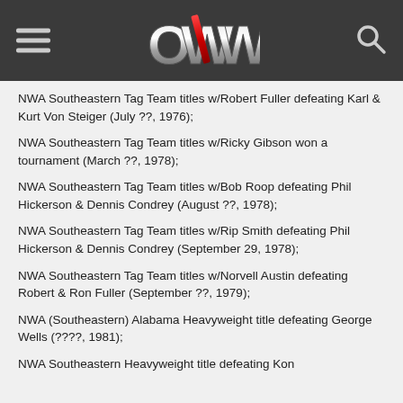OWW logo, hamburger menu, search icon
NWA Southeastern Tag Team titles w/Robert Fuller defeating Karl & Kurt Von Steiger (July ??, 1976);
NWA Southeastern Tag Team titles w/Ricky Gibson won a tournament (March ??, 1978);
NWA Southeastern Tag Team titles w/Bob Roop defeating Phil Hickerson & Dennis Condrey (August ??, 1978);
NWA Southeastern Tag Team titles w/Rip Smith defeating Phil Hickerson & Dennis Condrey (September 29, 1978);
NWA Southeastern Tag Team titles w/Norvell Austin defeating Robert & Ron Fuller (September ??, 1979);
NWA (Southeastern) Alabama Heavyweight title defeating George Wells (????, 1981);
NWA Southeastern Heavyweight title defeating Kon